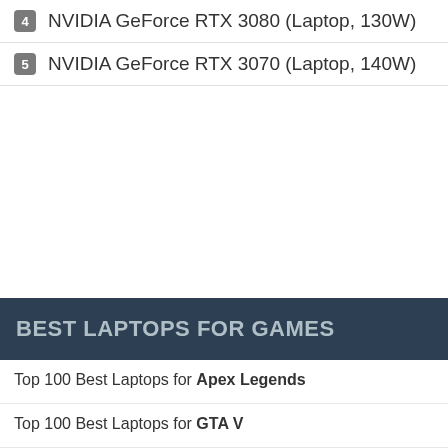4 NVIDIA GeForce RTX 3080 (Laptop, 130W)
5 NVIDIA GeForce RTX 3070 (Laptop, 140W)
BEST LAPTOPS FOR GAMES
Top 100 Best Laptops for Apex Legends
Top 100 Best Laptops for GTA V